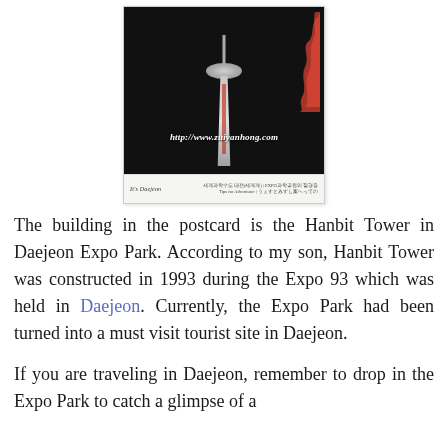[Figure (photo): A postcard showing the Hanbit Tower at Daejeon Expo Park at night, with a red decorative dragon shape on the right side. The postcard shows the URL http://www.zuiyanhong.com at the bottom of the photo, and a footer strip reading 'It's Daejeon' with Korean/Japanese text.]
The building in the postcard is the Hanbit Tower in Daejeon Expo Park. According to my son, Hanbit Tower was constructed in 1993 during the Expo 93 which was held in Daejeon. Currently, the Expo Park had been turned into a must visit tourist site in Daejeon.
If you are traveling in Daejeon, remember to drop in the Expo Park to catch a glimpse of a striking tower.